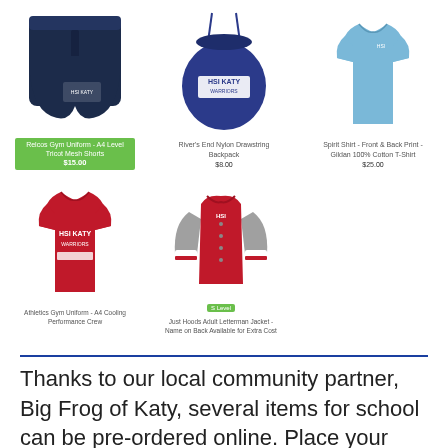[Figure (photo): Navy mesh athletic shorts with HSI Katy logo]
Relcos Gym Uniform - A4 Level Tricot Mesh Shorts
$15.00
[Figure (photo): Navy drawstring backpack with HSI Katy logo]
River's End Nylon Drawstring Backpack
$8.00
[Figure (photo): Light blue spirit t-shirt with front and back print]
Spirit Shirt - Front & Back Print - Gildan 100% Cotton T-Shirt
$25.00
[Figure (photo): Red athletic t-shirt with HSI Katy logo]
Athletics Gym Uniform - A4 Cooling Performance Crew
[Figure (photo): Red and grey varsity letterman jacket with HSI logo]
Just Hoods Adult Letterman Jacket - Name on Back Available for Extra Cost
Thanks to our local community partner, Big Frog of Katy, several items for school can be pre-ordered online. Place your order & pay